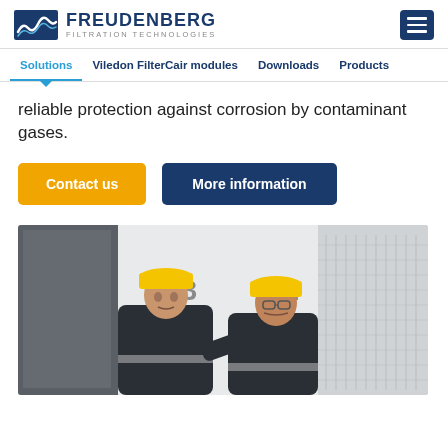FREUDENBERG FILTRATION TECHNOLOGIES
Solutions | Viledon FilterCair modules | Downloads | Products
reliable protection against corrosion by contaminant gases.
Contact us
More information
[Figure (photo): Two workers wearing yellow hard hats and dark uniforms inspecting industrial filtration equipment in a server/electrical room with numbered panels (13 and 12 visible).]